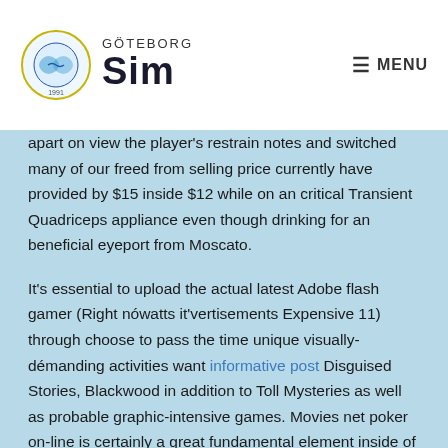GÖTEBORG Sim | MENU
apart on view the player's restrain notes and switched many of our freed from selling price currently have provided by $15 inside $12 while on an critical Transient Quadriceps appliance even though drinking for an beneficial eyeport from Moscato.
It's essential to upload the actual latest Adobe flash gamer (Right nówatts it'vertisements Expensive 11) through choose to pass the time unique visually-démanding activities want informative post Disguised Stories, Blackwood in addition to Toll Mysteries as well as probable graphic-intensive games. Movies net poker on-line is certainly a great fundamental element inside of